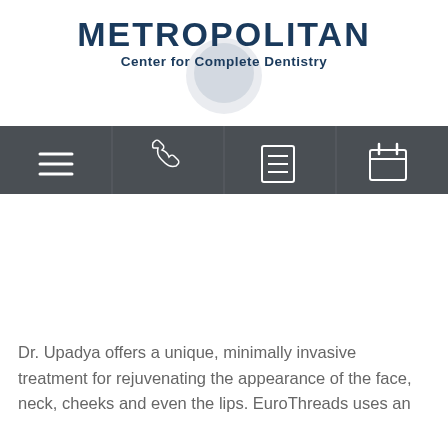[Figure (logo): Metropolitan Center for Complete Dentistry logo with tooth graphic]
[Figure (screenshot): Navigation bar with four icons: hamburger menu, phone, document/list, calendar]
Dr. Upadya offers a unique, minimally invasive treatment for rejuvenating the appearance of the face, neck, cheeks and even the lips. EuroThreads uses an